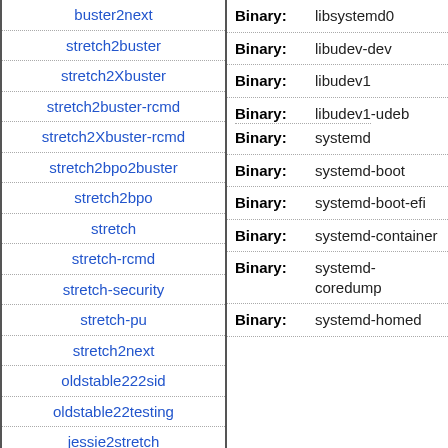buster2next
stretch2buster
stretch2Xbuster
stretch2buster-rcmd
stretch2Xbuster-rcmd
stretch2bpo2buster
stretch2bpo
stretch
stretch-rcmd
stretch-security
stretch-pu
stretch2next
oldstable222sid
oldstable22testing
jessie2stretch
jessie2Xstretch
jessie2stretch-rcmd
jessie2Xstretch-rcmd
Binary: libsystemd0
Binary: libudev-dev
Binary: libudev1
Binary: libudev1-udeb
Binary: systemd
Binary: systemd-boot
Binary: systemd-boot-efi
Binary: systemd-container
Binary: systemd-coredump
Binary: systemd-homed